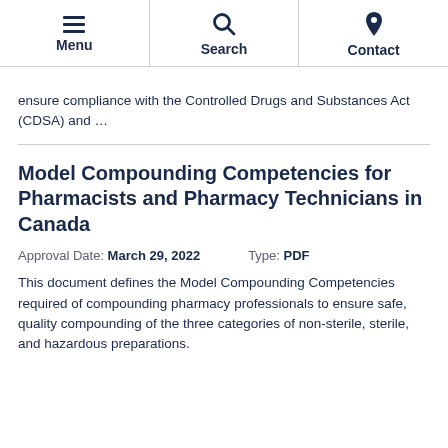Menu | Search | Contact
ensure compliance with the Controlled Drugs and Substances Act (CDSA) and …
Model Compounding Competencies for Pharmacists and Pharmacy Technicians in Canada
Approval Date: March 29, 2022     Type: PDF
This document defines the Model Compounding Competencies required of compounding pharmacy professionals to ensure safe, quality compounding of the three categories of non-sterile, sterile, and hazardous preparations.